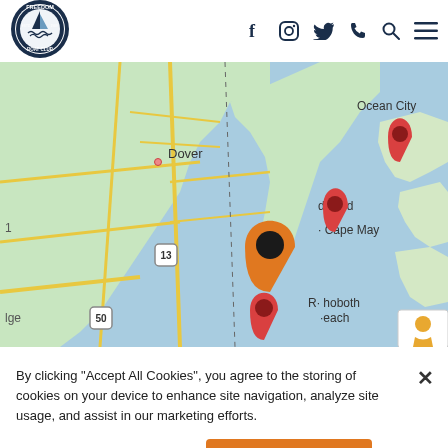[Figure (logo): Freedom Boat Club circular logo with blue border, boat illustration, and text 'ESTD 1989']
[Figure (map): Google Maps screenshot showing the Mid-Atlantic coast (Delaware, Maryland, New Jersey area) with location pins near Ocean City, Wildwood, Cape May, Rehoboth Beach, and a highlighted orange pin at the current location]
By clicking “Accept All Cookies”, you agree to the storing of cookies on your device to enhance site navigation, analyze site usage, and assist in our marketing efforts.
Cookies Settings
Accept All Cookies